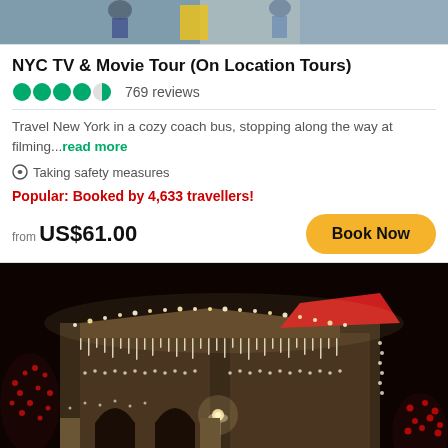[Figure (photo): Top portion of a tour photo showing people, partially cropped]
NYC TV & Movie Tour (On Location Tours)
769 reviews
Travel New York in a cozy coach bus, stopping along the way at filming...read more
Taking safety measures
Popular: Booked by 4,633 travellers!
from US$61.00
[Figure (photo): Night photo of a building decorated with Christmas lights, trees with red lights in foreground]